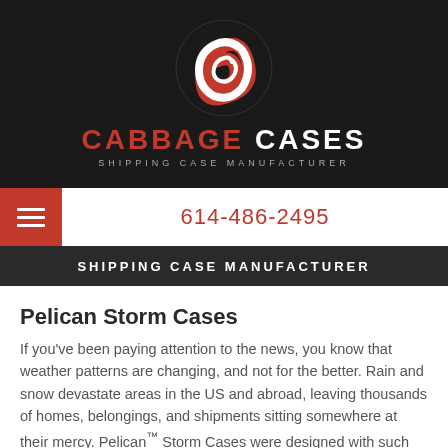[Figure (logo): Cabbage Cases logo: circular emblem with stylized C in red and white on dark background, with CABBAGE CASES text in red and white, subtitle SHIPPING CASE MANUFACTURER]
614-486-2495
SHIPPING CASE MANUFACTURER
Pelican Storm Cases
If you've been paying attention to the news, you know that weather patterns are changing, and not for the better. Rain and snow devastate areas in the US and abroad, leaving thousands of homes, belongings, and shipments sitting somewhere at their mercy. Pelican™ Storm Cases were designed with such eventualities because you never know when water or moisture will find a way into almost anything. Try hard, and you can probably think of all the possibilities, none of